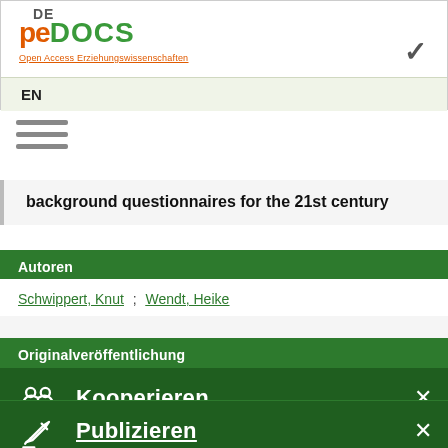peDOCS — Open Access Erziehungswissenschaften — DE / EN
EN
[Figure (other): Hamburger menu icon (three horizontal lines)]
background questionnaires for the 21st century
Autoren
Schwippert, Knut ; Wendt, Heike
Originalveröffentlichung
Kooperieren
Publizieren